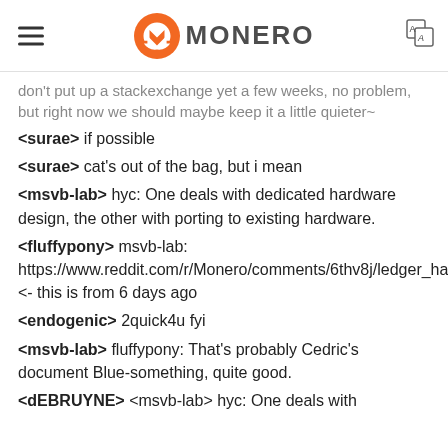MONERO
don't put up a stackexchange yet a few weeks, no problem, but right now we should maybe keep it a little quieter~
<surae> if possible
<surae> cat's out of the bag, but i mean
<msvb-lab> hyc: One deals with dedicated hardware design, the other with porting to existing hardware.
<fluffypony> msvb-lab: https://www.reddit.com/r/Monero/comments/6thv8j/ledger_hardware_wallet_monero_integration/ <- this is from 6 days ago
<endogenic> 2quick4u fyi
<msvb-lab> fluffypony: That's probably Cedric's document Blue-something, quite good.
<dEBRUYNE> <msvb-lab> hyc: One deals with